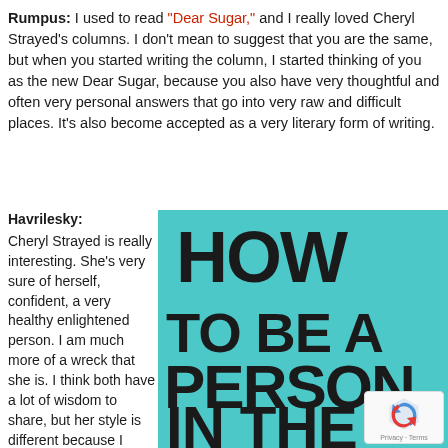Rumpus: I used to read "Dear Sugar," and I really loved Cheryl Strayed's columns. I don't mean to suggest that you are the same, but when you started writing the column, I started thinking of you as the new Dear Sugar, because you also have very thoughtful and often very personal answers that go into very raw and difficult places. It's also become accepted as a very literary form of writing.
Havrilesky: Cheryl Strayed is really interesting. She's very sure of herself, confident, a very healthy enlightened person. I am much more of a wreck that she is. I think both have a lot of wisdom to share, but her style is different because I think
[Figure (illustration): Book cover with teal/cyan background and large bold black text reading HOW TO BE A PERSON IN THE WORLD]